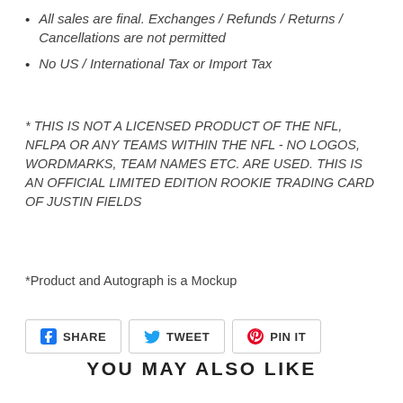All sales are final. Exchanges / Refunds / Returns / Cancellations are not permitted
No US / International Tax or Import Tax
* THIS IS NOT A LICENSED PRODUCT OF THE NFL, NFLPA OR ANY TEAMS WITHIN THE NFL - NO LOGOS, WORDMARKS, TEAM NAMES ETC. ARE USED. THIS IS AN OFFICIAL LIMITED EDITION ROOKIE TRADING CARD OF JUSTIN FIELDS
*Product and Autograph is a Mockup
SHARE  TWEET  PIN IT
YOU MAY ALSO LIKE